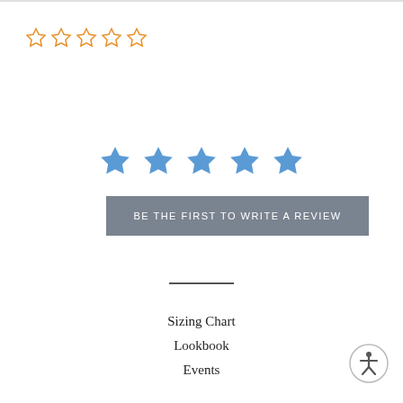[Figure (other): Five empty orange star rating icons in a row]
[Figure (other): Five filled blue star icons in a row]
BE THE FIRST TO WRITE A REVIEW
Sizing Chart
Lookbook
Events